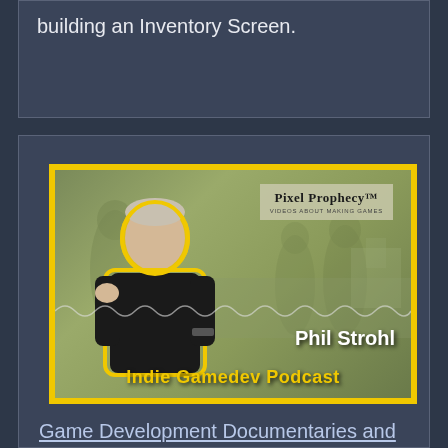building an Inventory Screen.
[Figure (photo): Phil Strahl Indie Gamedev Podcast thumbnail image showing Phil Strahl in a black t-shirt with a yellow outline, with the Pixel Prophecy logo in the top right and 'Phil Strahl Indie Gamedev Podcast' text at the bottom]
Game Development Documentaries and Game Jams – Interview with Phil Strahl (Pixel Prophecy) - Indie Gamedev Podcast (Education Projects)